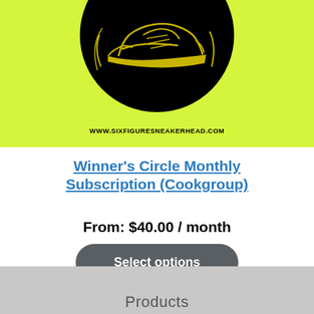[Figure (logo): Yellow/lime green background with a circular black logo containing a sneaker/shoe graphic and the text WWW.SIXFIGURESNEAKERHEAD.COM at the bottom]
Winner's Circle Monthly Subscription (Cookgroup)
From: $40.00 / month
Select options
Products